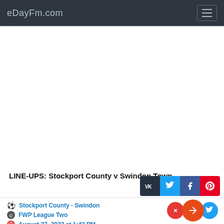eDayFm.com
[Figure (other): Advertisement / blank white area]
LINE-UPS: Stockport County v Swindon Town
Stockport County - Swindon
FWP League Two
August 27, 2022 at 1:42 PM